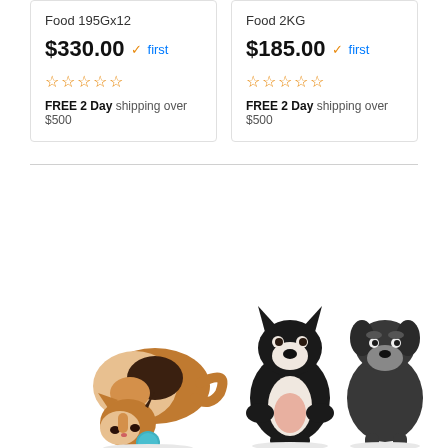Food 195Gx12
$330.00 ✓first
☆☆☆☆☆
FREE 2 Day shipping over $500
Food 2KG
$185.00 ✓first
☆☆☆☆☆
FREE 2 Day shipping over $500
[Figure (photo): Photo of a calico cat eating from a bowl, a Boston Terrier puppy sitting upright, and a Schnauzer dog sitting, all on white background]